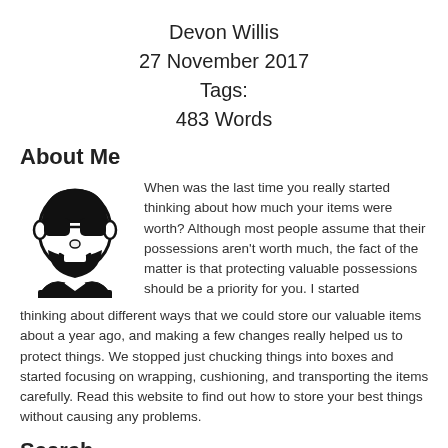Devon Willis
27 November 2017
Tags:
483 Words
About Me
[Figure (illustration): Black and white cartoon illustration of a man's face with beard and sunglasses]
When was the last time you really started thinking about how much your items were worth? Although most people assume that their possessions aren't worth much, the fact of the matter is that protecting valuable possessions should be a priority for you. I started thinking about different ways that we could store our valuable items about a year ago, and making a few changes really helped us to protect things. We stopped just chucking things into boxes and started focusing on wrapping, cushioning, and transporting the items carefully. Read this website to find out how to store your best things without causing any problems.
Search